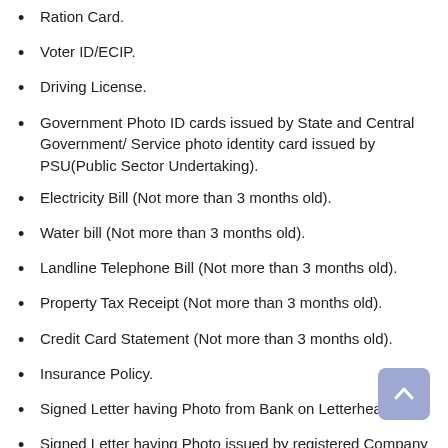Ration Card.
Voter ID/ECIP.
Driving License.
Government Photo ID cards issued by State and Central Government/ Service photo identity card issued by PSU(Public Sector Undertaking).
Electricity Bill (Not more than 3 months old).
Water bill (Not more than 3 months old).
Landline Telephone Bill (Not more than 3 months old).
Property Tax Receipt (Not more than 3 months old).
Credit Card Statement (Not more than 3 months old).
Insurance Policy.
Signed Letter having Photo from Bank on Letterhead.
Signed Letter having Photo issued by registered Company on letterhead.
Signed Letter having Photo issued by Recognized Educational Institution on letterhead.
NREGS Job Card.